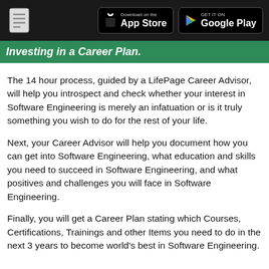Download on the App Store | GET IT ON Google Play
Investing in a Career Plan.
The 14 hour process, guided by a LifePage Career Advisor, will help you introspect and check whether your interest in Software Engineering is merely an infatuation or is it truly something you wish to do for the rest of your life.
Next, your Career Advisor will help you document how you can get into Software Engineering, what education and skills you need to succeed in Software Engineering, and what positives and challenges you will face in Software Engineering.
Finally, you will get a Career Plan stating which Courses, Certifications, Trainings and other Items you need to do in the next 3 years to become world's best in Software Engineering.